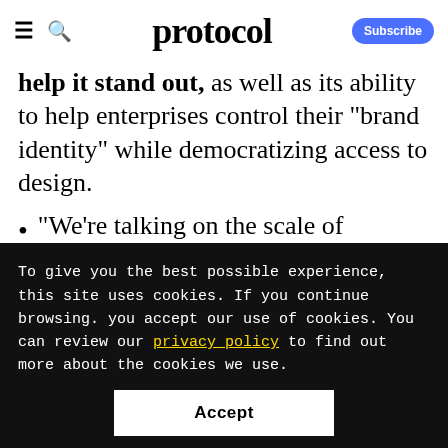protocol  Subscribe
help it stand out, as well as its ability to help enterprises control their "brand identity" while democratizing access to design.
"We're talking on the scale of thousands of people using Canva at one place, helping them connect and share their content with one another," he said
To give you the best possible experience, this site uses cookies. If you continue browsing. you accept our use of cookies. You can review our privacy policy to find out more about the cookies we use.
Accept